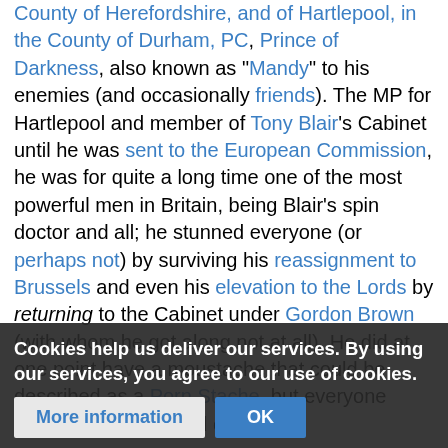County of Herefordshire, and of Hartlepool, in the County of Durham, PC, Prince of Darkness, also known as "Mandy" to his enemies (and occasionally friends). The MP for Hartlepool and member of Tony Blair's Cabinet until he was sent to the European Commission, he was for quite a long time one of the most powerful men in Britain, being Blair's spin doctor and all; he stunned everyone (or perhaps not) by surviving his reassignment to Brussels and even his elevation to the Lords by returning to the Cabinet under Gordon Brown (with whom he got along not at all). He did at one point have a moustache that could be described as a Porn Stache, but everyone hated it and he got rid of it later.
Congres... gay jokes his political ... ("cing Queen"
Cookies help us deliver our services. By using our services, you agree to our use of cookies.